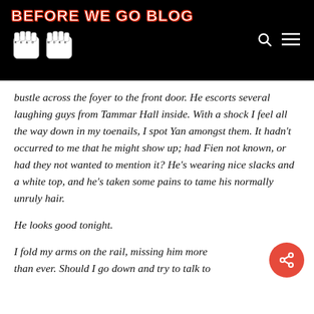BEFORE WE GO BLOG
bustle across the foyer to the front door. He escorts several laughing guys from Tammar Hall inside. With a shock I feel all the way down in my toenails, I spot Yan amongst them. It hadn't occurred to me that he might show up; had Fien not known, or had they not wanted to mention it? He's wearing nice slacks and a white top, and he's taken some pains to tame his normally unruly hair.
He looks good tonight.
I fold my arms on the rail, missing him more than ever. Should I go down and try to talk to